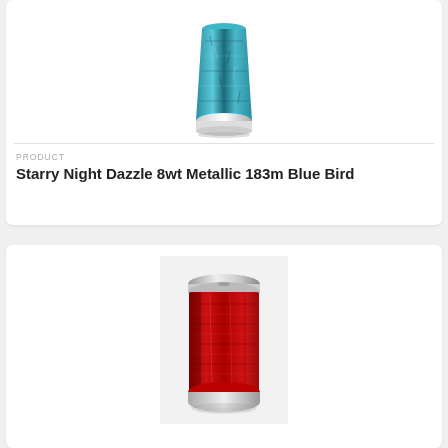[Figure (photo): Teal and black metallic thread spool (Starry Night Dazzle 8wt Metallic 183m Blue Bird) on white background]
PRODUCT
Starry Night Dazzle 8wt Metallic 183m Blue Bird
[Figure (photo): Red metallic thread spool on white/light gray background]